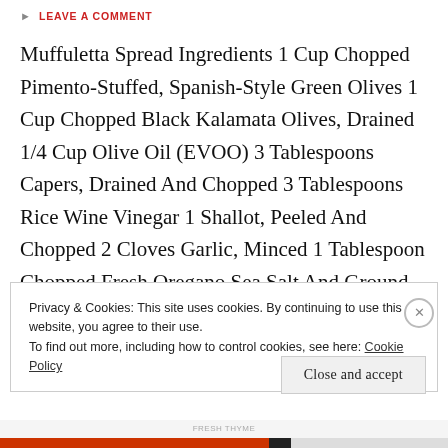LEAVE A COMMENT
Muffuletta Spread Ingredients 1 Cup Chopped Pimento-Stuffed, Spanish-Style Green Olives 1 Cup Chopped Black Kalamata Olives, Drained 1/4 Cup Olive Oil (EVOO) 3 Tablespoons Capers, Drained And Chopped 3 Tablespoons Rice Wine Vinegar 1 Shallot, Peeled And Chopped 2 Cloves Garlic, Minced 1 Tablespoon Chopped Fresh Oregano Sea Salt And Ground Black Pepper To Taste ...
Privacy & Cookies: This site uses cookies. By continuing to use this website, you agree to their use.
To find out more, including how to control cookies, see here: Cookie Policy
Close and accept